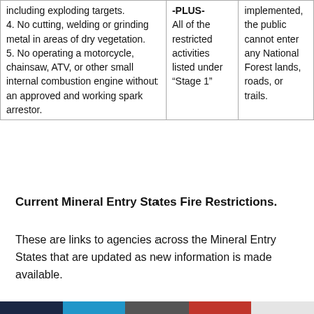| including exploding targets.
4. No cutting, welding or grinding metal in areas of dry vegetation.
5. No operating a motorcycle, chainsaw, ATV, or other small internal combustion engine without an approved and working spark arrestor. | -PLUS-
All of the restricted activities listed under “Stage 1” | implemented, the public cannot enter any National Forest lands, roads, or trails. |
Current Mineral Entry States Fire Restrictions.
These are links to agencies across the Mineral Entry States that are updated as new information is made available.